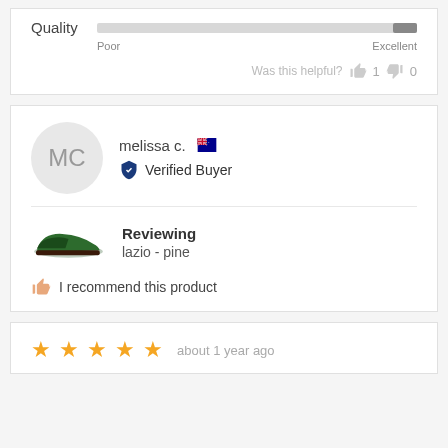[Figure (infographic): Quality rating bar from Poor to Excellent with bar nearly full to Excellent end, and helpful votes (thumbs up 1, thumbs down 0)]
[Figure (infographic): Reviewer card showing avatar with initials MC, name melissa c. with Australian flag, Verified Buyer badge, shoe product image (lazio - pine), and I recommend this product]
[Figure (infographic): 5-star rating with text 'about 1 year ago']